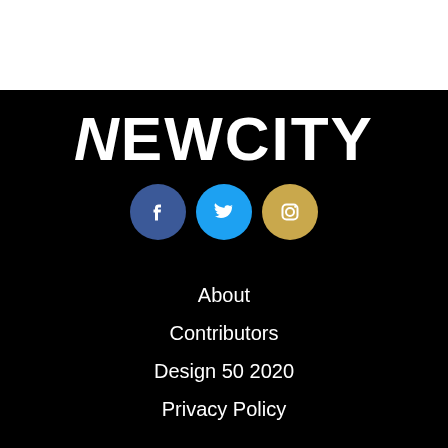[Figure (logo): Newcity logo in white serif/display font on black background]
[Figure (infographic): Three social media icons: Facebook (dark blue circle), Twitter (light blue circle), Instagram (gold circle)]
About
Contributors
Design 50 2020
Privacy Policy